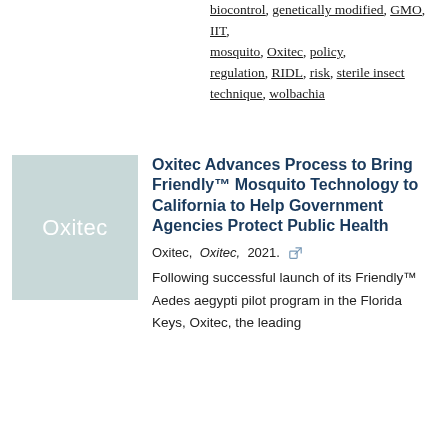biocontrol, genetically modified, GMO, IIT, mosquito, Oxitec, policy, regulation, RIDL, risk, sterile insect technique, wolbachia
[Figure (logo): Oxitec logo: light blue-grey square with white text 'Oxitec' in center]
Oxitec Advances Process to Bring Friendly™ Mosquito Technology to California to Help Government Agencies Protect Public Health
Oxitec, Oxitec, 2021.
Following successful launch of its Friendly™ Aedes aegypti pilot program in the Florida Keys, Oxitec, the leading